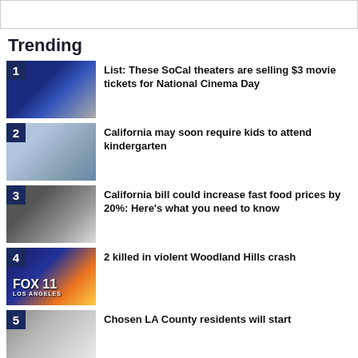Trending
List: These SoCal theaters are selling $3 movie tickets for National Cinema Day
California may soon require kids to attend kindergarten
California bill could increase fast food prices by 20%: Here's what you need to know
2 killed in violent Woodland Hills crash
Chosen LA County residents will start